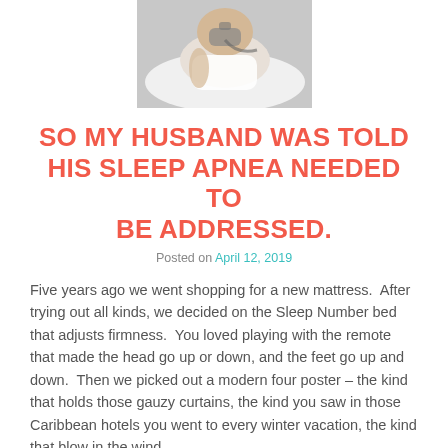[Figure (photo): A person lying in bed wearing a CPAP mask, resting on white pillows, viewed from above at an angle.]
SO MY HUSBAND WAS TOLD HIS SLEEP APNEA NEEDED TO BE ADDRESSED.
Posted on April 12, 2019
Five years ago we went shopping for a new mattress.  After trying out all kinds, we decided on the Sleep Number bed that adjusts firmness.  You loved playing with the remote that made the head go up or down, and the feet go up and down.  Then we picked out a modern four poster – the kind that holds those gauzy curtains, the kind you saw in those Caribbean hotels you went to every winter vacation, the kind that blow in the wind.